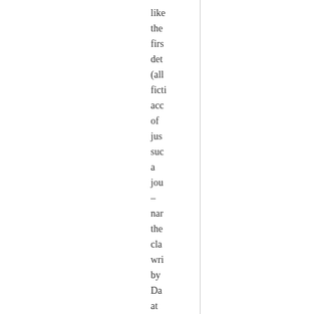like the first det (all fict acco of just such a jou – nar the cla wri by Da at the end of